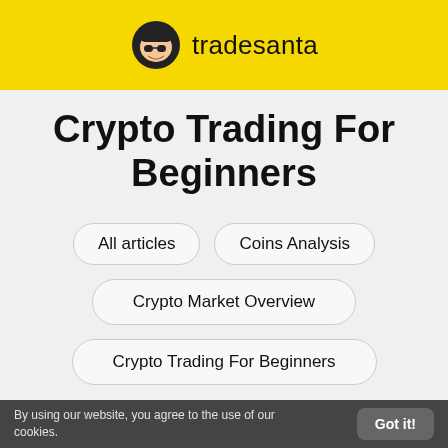tradesanta
Crypto Trading For Beginners
All articles
Coins Analysis
Crypto Market Overview
Crypto Trading For Beginners
By using our website, you agree to the use of our cookies. Got it!